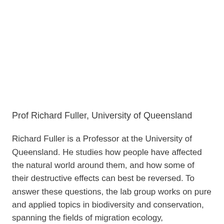Prof Richard Fuller, University of Queensland
Richard Fuller is a Professor at the University of Queensland. He studies how people have affected the natural world around them, and how some of their destructive effects can best be reversed. To answer these questions, the lab group works on pure and applied topics in biodiversity and conservation, spanning the fields of migration ecology, conservation planning and urban